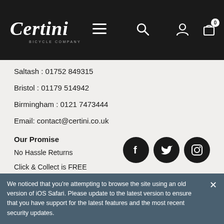[Figure (logo): Certini Bicycle Company logo in white italic script on dark header bar]
Saltash : 01752 849315
Bristol : 01179 514942
Birmingham : 0121 7473444
Email: contact@certini.co.uk
Our Promise
No Hassle Returns
Click & Collect is FREE
Free shipping over £30*
[Figure (illustration): Three social media icons: Facebook, Twitter, Instagram — white on black circles]
We noticed that you're attempting to browse the site using an old version of iOS Safari. Please update to the latest version to ensure that you have support for the latest features and the most recent security updates.